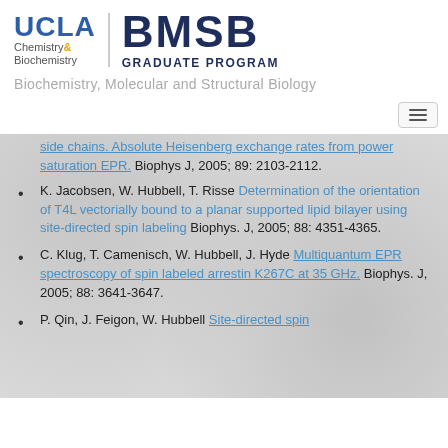[Figure (logo): UCLA Chemistry & Biochemistry | BMSB Graduate Program logo]
Biochemistry, Molecular and Structural Biology
side chains. Absolute Heisenberg exchange rates from power saturation EPR. Biophys J, 2005; 89: 2103-2112.
K. Jacobsen, W. Hubbell, T. Risse Determination of the orientation of T4L vectorially bound to a planar supported lipid bilayer using site-directed spin labeling Biophys. J, 2005; 88: 4351-4365.
C. Klug, T. Camenisch, W. Hubbell, J. Hyde Multiquantum EPR spectroscopy of spin labeled arrestin K267C at 35 GHz. Biophys. J, 2005; 88: 3641-3647.
P. Qin, J. Feigon, W. Hubbell Site-directed spin labeling...